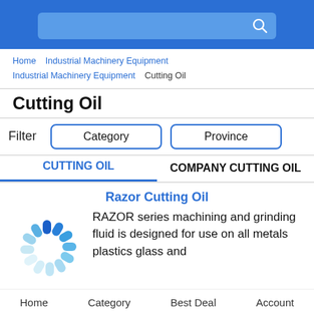[Search bar]
Home  Industrial Machinery Equipment  Industrial Machinery Equipment  Cutting Oil
Cutting Oil
Filter  Category  Province
CUTTING OIL  COMPANY CUTTING OIL
Razor Cutting Oil
RAZOR series machining and grinding fluid is designed for use on all metals plastics glass and
Home  Category  Best Deal  Account